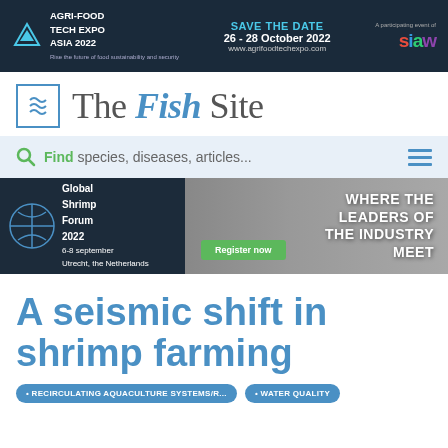[Figure (screenshot): Agri-Food Tech Expo Asia 2022 advertisement banner - dark navy background with logo, Save the Date 26-28 October 2022 text, www.agrifoodtechexpo.com URL, and SIAW partner logo]
The Fish Site
Find species, diseases, articles...
[Figure (screenshot): Global Shrimp Forum 2022 banner - 6-8 September, Utrecht the Netherlands. WHERE THE LEADERS OF THE INDUSTRY MEET. Register now button. Shows shrimp being held in hand.]
A seismic shift in shrimp farming
RECIRCULATING AQUACULTURE SYSTEMS/R...
WATER QUALITY